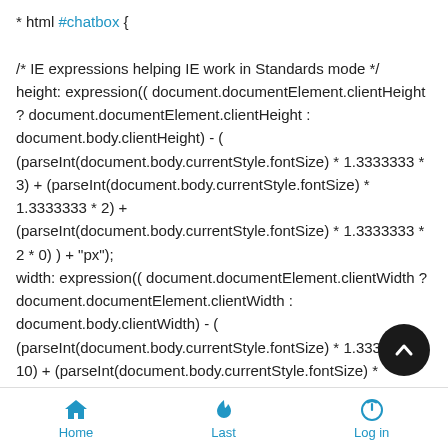* html #chatbox {

/* IE expressions helping IE work in Standards mode */
height: expression(( document.documentElement.clientHeight ? document.documentElement.clientHeight : document.body.clientHeight) - ( (parseInt(document.body.currentStyle.fontSize) * 1.3333333 * 3) + (parseInt(document.body.currentStyle.fontSize) * 1.3333333 * 2) + (parseInt(document.body.currentStyle.fontSize) * 1.3333333 * 2 * 0) ) + "px");
width: expression(( document.documentElement.clientWidth ? document.documentElement.clientWidth : document.body.clientWidth) - ( (parseInt(document.body.currentStyle.fontSize) * 1.3333333 * 10) + (parseInt(document.body.currentStyle.fontSize) * 1.3333333 * 1) + (parseInt(document.body.currentStyle.fontSize) * 1.333333 * 1.3) ) + "px");
Home   Last   Log in